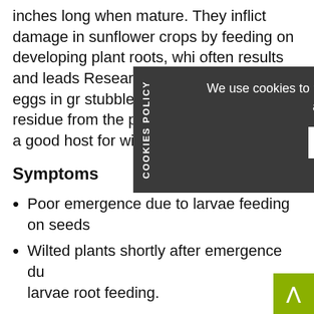inches long when mature. They inflict damage in sunflower crops by feeding on developing plant roots, whi often results and leads Research operation wireworm eggs in gr stubble and remaining crop residue from the previous season can be a good host for wireworm populations.
[Figure (screenshot): Cookie consent popup overlay with dark gray background. Left sidebar with rotated text 'COOKIES POLICY'. Main text: 'We use cookies to make this website work better for you and to track site visits anonymously. You can opt out if you like.' Two white buttons: 'Tell me more.' and 'Ok, continue']
Symptoms
Poor emergence due to larvae feeding on seeds
Wilted plants shortly after emergence due to larvae root feeding.